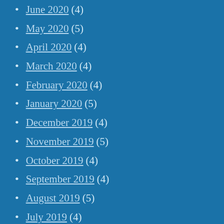June 2020 (4)
May 2020 (5)
April 2020 (4)
March 2020 (4)
February 2020 (4)
January 2020 (5)
December 2019 (4)
November 2019 (5)
October 2019 (4)
September 2019 (4)
August 2019 (5)
July 2019 (4)
June 2019 (6)
May 2019 (4)
April 2019 (4)
March 2019 (5)
February 2019 (4)